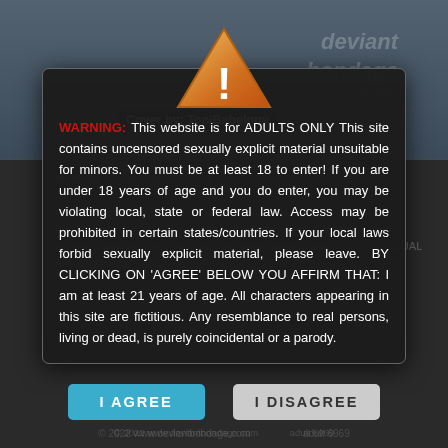[Figure (screenshot): Background showing a partially visible adult comic website page with blurred content, overlaid by a warning modal dialog with an orange caution triangle icon.]
Cover by: ToniBabelony
WARNING: This website is for ADULTS ONLY This site contains uncensored sexually explicit material unsuitable for minors. You must be at least 18 to enter! If you are under 18 years of age and you do enter, you may be violating local, state or federal law. Access may be prohibited in certain states/countries. If your local laws forbid sexually explicit material, please leave. BY CLICKING ON 'AGREE' BELOW YOU AFFIRM THAT: I am at least 21 years of age. All characters appearing in this site are fictitious. Any resemblance to real persons, living or dead, is purely coincidental or a parody.
I AGREE
I DISAGREE
© 2022 www.deviantbondage.com adult 6969